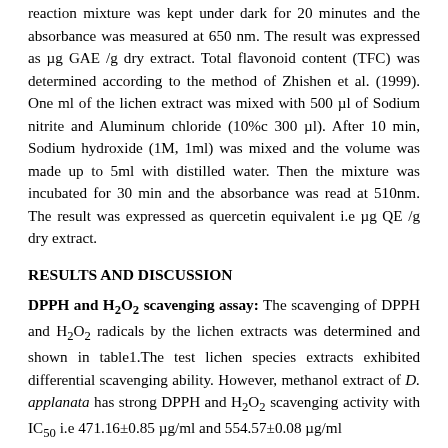reaction mixture was kept under dark for 20 minutes and the absorbance was measured at 650 nm. The result was expressed as µg GAE /g dry extract. Total flavonoid content (TFC) was determined according to the method of Zhishen et al. (1999). One ml of the lichen extract was mixed with 500 µl of Sodium nitrite and Aluminum chloride (10%c 300 µl). After 10 min, Sodium hydroxide (1M, 1ml) was mixed and the volume was made up to 5ml with distilled water. Then the mixture was incubated for 30 min and the absorbance was read at 510nm. The result was expressed as quercetin equivalent i.e µg QE /g dry extract.
RESULTS AND DISCUSSION
DPPH and H2O2 scavenging assay: The scavenging of DPPH and H2O2 radicals by the lichen extracts was determined and shown in table1.The test lichen species extracts exhibited differential scavenging ability. However, methanol extract of D. applanata has strong DPPH and H2O2 scavenging activity with IC50 i.e 471.16±0.85 µg/ml and 554.57±0.08 µg/ml